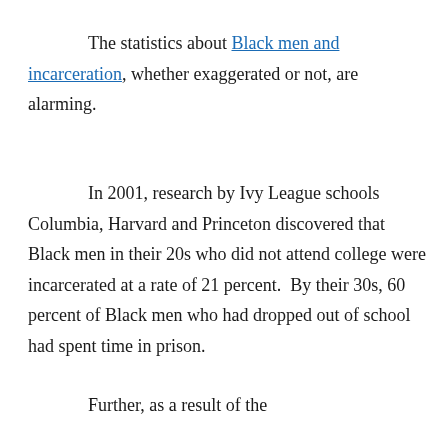The statistics about Black men and incarceration, whether exaggerated or not, are alarming.
In 2001, research by Ivy League schools Columbia, Harvard and Princeton discovered that Black men in their 20s who did not attend college were incarcerated at a rate of 21 percent.  By their 30s, 60 percent of Black men who had dropped out of school had spent time in prison.
Further, as a result of the